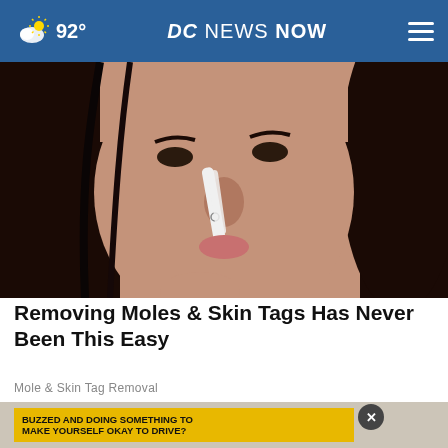92° | DC NEWS NOW
[Figure (photo): Close-up photo of a young woman with dark hair applying something white to her nose with a tool, possibly a skincare or mole removal product.]
Removing Moles & Skin Tags Has Never Been This Easy
Mole & Skin Tag Removal
[Figure (screenshot): Bottom portion showing a partial image of a document with text 'BUZZED AND DOING SOMETHING TO MAKE YOURSELF OKAY TO DRIVE?' in a yellow banner, a close button (X), and partial text on the right side.]